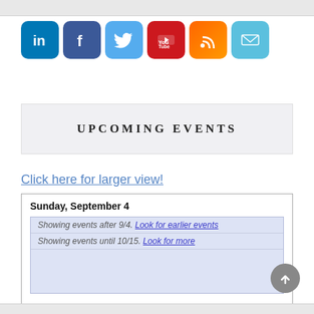[Figure (infographic): Row of 6 social media icon buttons: LinkedIn, Facebook, Twitter, YouTube, RSS, Email]
UPCOMING EVENTS
Click here for larger view!
Sunday, September 4
Showing events after 9/4. Look for earlier events
Showing events until 10/15. Look for more
Events shown in time zone: Pacific Time - Los Angeles
[Figure (screenshot): Google Calendar embedded widget showing events after 9/4 through 10/15]